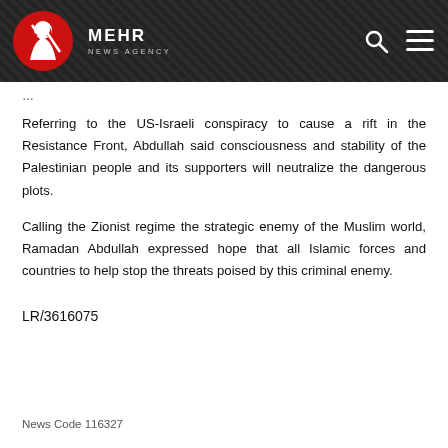MEHR NEWS AGENCY
Referring to the US-Israeli conspiracy to cause a rift in the Resistance Front, Abdullah said consciousness and stability of the Palestinian people and its supporters will neutralize the dangerous plots.
Calling the Zionist regime the strategic enemy of the Muslim world, Ramadan Abdullah expressed hope that all Islamic forces and countries to help stop the threats poised by this criminal enemy.
LR/3616075
News Code 116327